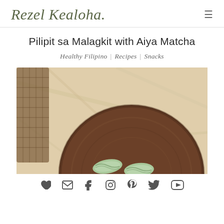Rezel Kealoha
Pilipit sa Malagkit with Aiya Matcha
Healthy Filipino | Recipes | Snacks
[Figure (photo): Overhead close-up photo of a round dark wood cutting board on a beige stone/marble table. On the board are green matcha-colored rolled/twisted rice cake pieces (pilipit). A wicker chair leg is visible in the top left corner.]
Social media icons: heart, email, facebook, instagram, pinterest, twitter, youtube